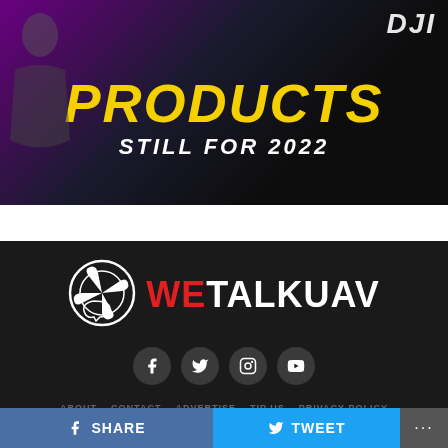[Figure (photo): Dark promotional banner for DJI products with yellow 'PRODUCTS' text and 'STILL FOR 2022' subtitle, person in background]
[Figure (logo): WeTalkUAV logo with drone icon and red/white text on dark background]
[Figure (infographic): Social media icons row: Facebook, Twitter, Instagram, YouTube on dark background]
ABOUT   CONTACT   ADVERTISE   TIP US   PRIVACY POLICY
SHARE
TWEET